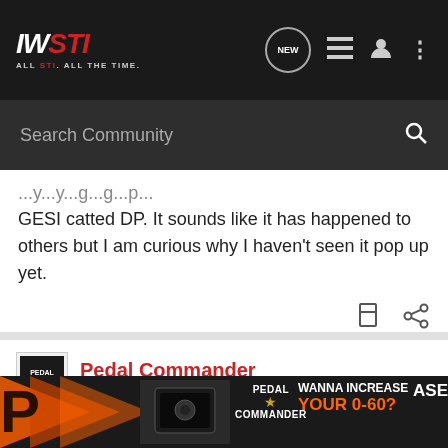IWSTI - ALL STI. ALL THE TIME.
Search Community
...y...y...g...g...p... GESI catted DP. It sounds like it has happened to others but I am curious why I haven't seen it pop up yet.
Pedal Commander
Ad
Only Performance Upgrade You'll Ever Need
Quicker acceleration or better fuel economy? Why not both? Try Pedal Commander, get the best of both worlds!
[Figure (infographic): Pedal Commander advertisement banner showing product image, logo, and text 'WANNA INCREASE YOUR 0-60?']